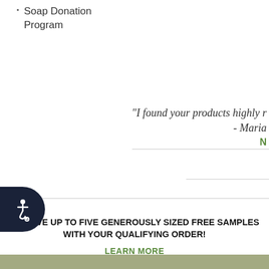Soap Donation Program
"I found your products highly r - Maria
N
RECEIVE UP TO FIVE GENEROUSLY SIZED FREE SAMPLES WITH YOUR QUALIFYING ORDER!
LEARN MORE